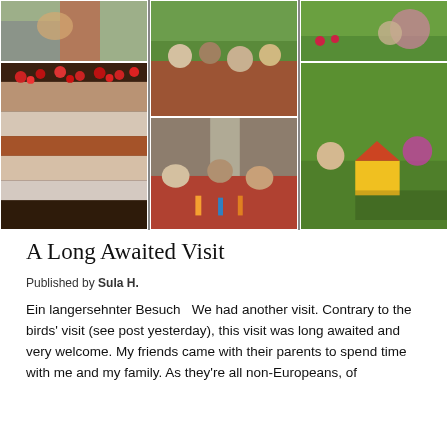[Figure (photo): A collage of six photographs arranged in a 3-column grid showing a family visit: person reading on porch, group dining outdoors at a red-checked table, someone gardening, a layered cherry cake, people seated indoors at a table, and children playing with a toy house outdoors.]
A Long Awaited Visit
Published by Sula H.
Ein langersehnter Besuch   We had another visit. Contrary to the birds' visit (see post yesterday), this visit was long awaited and very welcome. My friends came with their parents to spend time with me and my family. As they're all non-Europeans, of